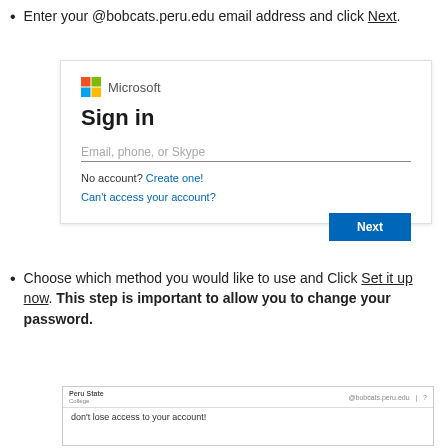Enter your @bobcats.peru.edu email address and click Next.
[Figure (screenshot): Microsoft Sign in dialog box with email/phone/Skype input field, 'No account? Create one!' link, 'Can't access your account?' link, and a blue Next button.]
Choose which method you would like to use and Click Set it up now. This step is important to allow you to change your password.
[Figure (screenshot): Peru State College page header showing @bobcats.peru.edu and a help icon, with body text 'don't lose access to your account!']